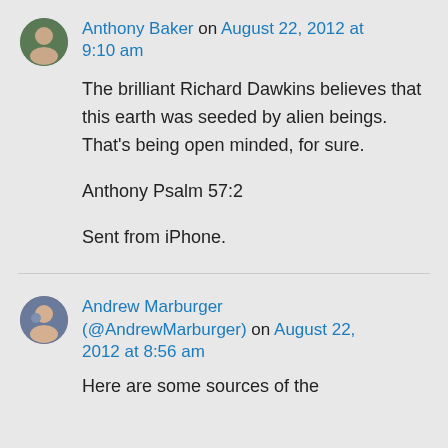Anthony Baker on August 22, 2012 at 9:10 am
The brilliant Richard Dawkins believes that this earth was seeded by alien beings. That's being open minded, for sure.

Anthony Psalm 57:2

Sent from iPhone.
Andrew Marburger (@AndrewMarburger) on August 22, 2012 at 8:56 am
Here are some sources of the